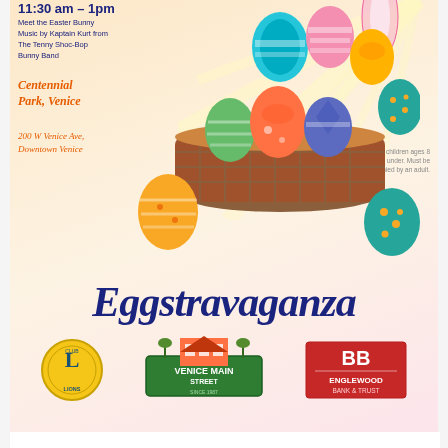[Figure (illustration): Eggstravaganza event flyer showing Easter eggs in a basket with decorative elements, sponsor logos (Lions Club, Venice Main Street, Englewood Bank & Trust), event details including time 11:30am-1pm, Centennial Park Venice, 200 W Venice Ave, Downtown Venice, music by Kaptain Kurt from The Tenny Shoc-Bop Bunny Band, for children ages 8 and under.]
Eggstravaganza 2022
Mar 21, 2022 | Event, News | 0 Comments
Join us for Easter fun in 2 locations this year!  Easter Egg Hunt in West